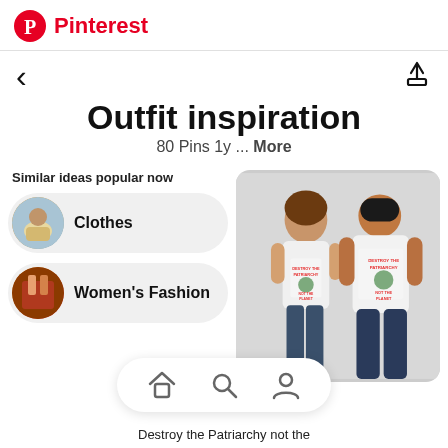Pinterest
Outfit inspiration
80 Pins 1y ... More
Similar ideas popular now
Clothes
Women's Fashion
[Figure (photo): Two people wearing white t-shirts with 'Destroy the Patriarchy not the Planet' graphic print, posing against a light background.]
Destroy the Patriarchy not the